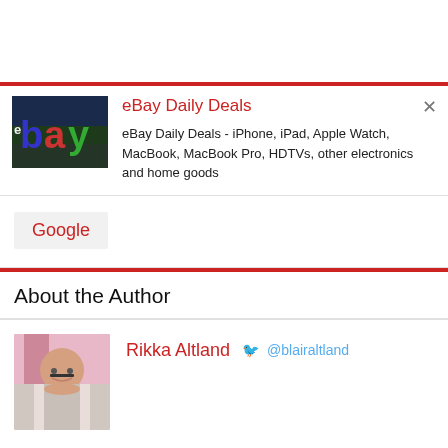[Figure (screenshot): eBay Daily Deals card with eBay logo image, title 'eBay Daily Deals' in red, description text, and a close button (×)]
eBay Daily Deals - iPhone, iPad, Apple Watch, MacBook, MacBook Pro, HDTVs, other electronics and home goods
[Figure (logo): Google logo placeholder in a light grey box]
About the Author
[Figure (photo): Photo of Rikka Altland, a young woman with glasses smiling]
Rikka Altland  @blairaltland